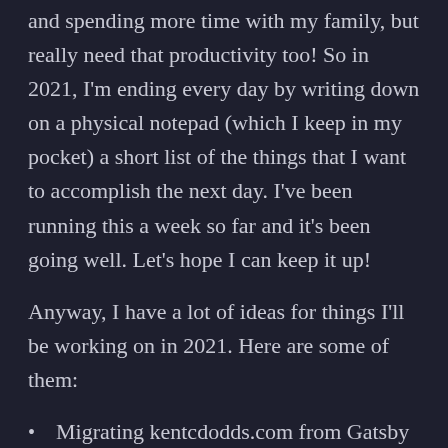and spending more time with my family, but really need that productivity too! So in 2021, I'm ending every day by writing down on a physical notepad (which I keep in my pocket) a short list of the things that I want to accomplish the next day. I've been running this a week so far and it's been going well. Let's hope I can keep it up!
Anyway, I have a lot of ideas for things I'll be working on in 2021. Here are some of them:
Migrating kentcdodds.com from Gatsby to Remix (I will probably livestream lots of this)
TypeScript-ifying everything I do, including